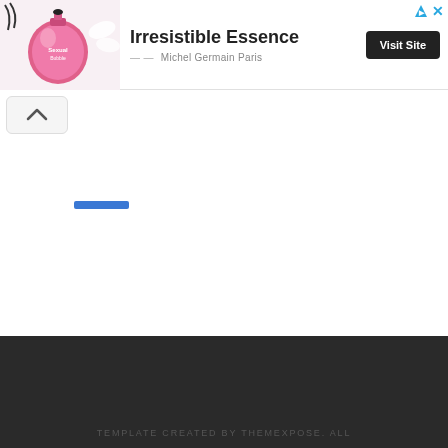[Figure (other): Advertisement banner for Michel Germain Paris 'Irresistible Essence' perfume with pink perfume bottle image, bold title text, and a 'Visit Site' button. Ad attribution icons (triangle and X) in top-right corner.]
[Figure (other): Scroll-to-top chevron button (upward caret) in a rounded rectangle, with a blue bar to its right.]
TEMPLATE CREATED BY THEMEXPOSE. ALL